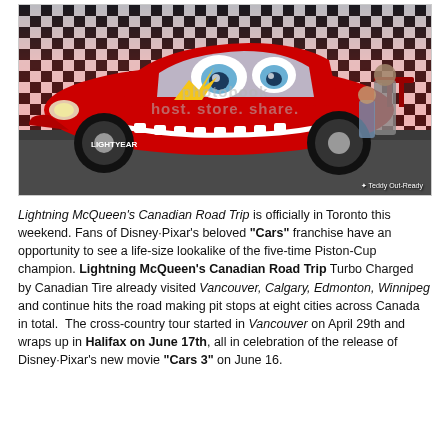[Figure (photo): Photo of a life-size Lightning McQueen Cars replica car (red, from Disney-Pixar Cars 3) parked in front of a checkered Cars 3 branded backdrop. A child and adult stand beside it. Watermark reads 'photobook host. store. share.' Photo credit: Teddy Out-Ready.]
Lightning McQueen's Canadian Road Trip is officially in Toronto this weekend. Fans of Disney·Pixar's beloved "Cars" franchise have an opportunity to see a life-size lookalike of the five-time Piston-Cup champion. Lightning McQueen's Canadian Road Trip Turbo Charged by Canadian Tire already visited Vancouver, Calgary, Edmonton, Winnipeg and continue hits the road making pit stops at eight cities across Canada in total.  The cross-country tour started in Vancouver on April 29th and wraps up in Halifax on June 17th, all in celebration of the release of Disney·Pixar's new movie "Cars 3" on June 16.